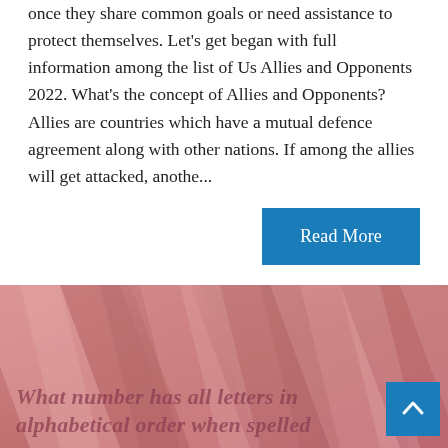once they share common goals or need assistance to protect themselves. Let's get began with full information among the list of Us Allies and Opponents 2022. What's the concept of Allies and Opponents? Allies are countries which have a mutual defence agreement along with other nations. If among the allies will get attacked, anothe...
Read More
[Figure (photo): Pink/mauve diagonal textured background with overlapping ribbon-like fabric folds]
What number has all letters in alphabetical order when spelled